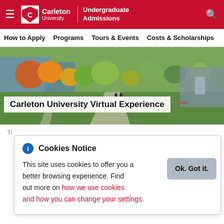Carleton University | Undergraduate Admissions
How to Apply  Programs  Tours & Events  Costs & Scholarships
[Figure (photo): Aerial view of Carleton University campus in autumn with colourful trees and green lawn]
Carleton University Virtual Experience
This site uses cookies to offer you a better browsing experience. Find out more on how we use cookies and how you can change your settings.